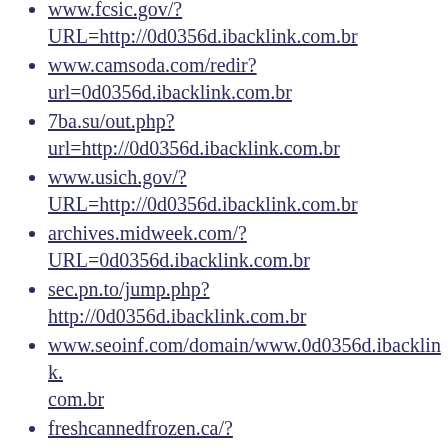www.fcsic.gov/?URL=http://0d0356d.ibacklink.com.br
www.camsoda.com/redir?url=0d0356d.ibacklink.com.br
7ba.su/out.php?url=http://0d0356d.ibacklink.com.br
www.usich.gov/?URL=http://0d0356d.ibacklink.com.br
archives.midweek.com/?URL=0d0356d.ibacklink.com.br
sec.pn.to/jump.php?http://0d0356d.ibacklink.com.br
www.seoinf.com/domain/www.0d0356d.ibacklink.com.br
freshcannedfrozen.ca/?URL=0d0356d.ibacklink.com.br
cies.xrea.jp/jump/?http://0d0356d.ibacklink.com.br
openroadbicycles.com/